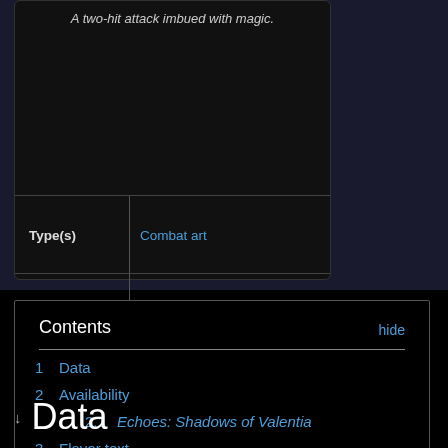A two-hit attack imbued with magic.
| Label | Value |
| --- | --- |
| Type(s) | Combat art |
| Game(s) | Echoes: Shadows of Valentia |
Contents
1  Data
2  Availability
2.1  Echoes: Shadows of Valentia
3  Flavor text
4  Etymology and other languages
5  Gallery
6  References
Data